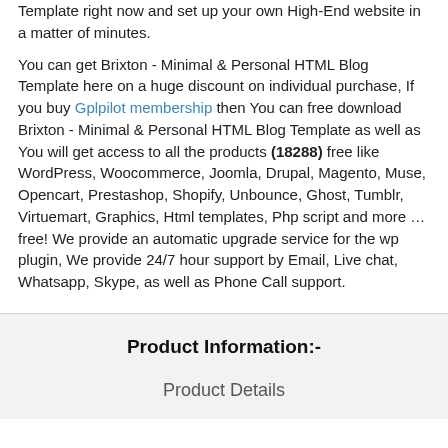Template right now and set up your own High-End website in a matter of minutes.
You can get Brixton - Minimal & Personal HTML Blog Template here on a huge discount on individual purchase, If you buy Gplpilot membership then You can free download Brixton - Minimal & Personal HTML Blog Template as well as You will get access to all the products (18288) free like WordPress, Woocommerce, Joomla, Drupal, Magento, Muse, Opencart, Prestashop, Shopify, Unbounce, Ghost, Tumblr, Virtuemart, Graphics, Html templates, Php script and more … free! We provide an automatic upgrade service for the wp plugin, We provide 24/7 hour support by Email, Live chat, Whatsapp, Skype, as well as Phone Call support.
Product Information:-
Product Details